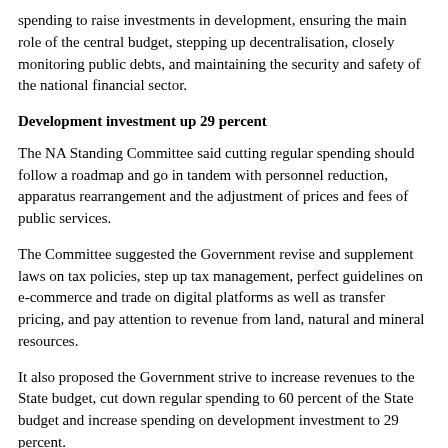spending to raise investments in development, ensuring the main role of the central budget, stepping up decentralisation, closely monitoring public debts, and maintaining the security and safety of the national financial sector.
Development investment up 29 percent
The NA Standing Committee said cutting regular spending should follow a roadmap and go in tandem with personnel reduction, apparatus rearrangement and the adjustment of prices and fees of public services.
The Committee suggested the Government revise and supplement laws on tax policies, step up tax management, perfect guidelines on e-commerce and trade on digital platforms as well as transfer pricing, and pay attention to revenue from land, natural and mineral resources.
It also proposed the Government strive to increase revenues to the State budget, cut down regular spending to 60 percent of the State budget and increase spending on development investment to 29 percent.
To that end, the NA said it is a must to quickly amend and complete relevant policies to restructure budget collection sources,